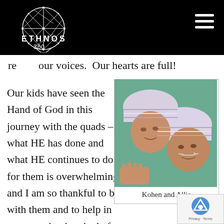ETHNOS 360
re… our voices.  Our hearts are full!
Our kids have seen the Hand of God in this journey with the quads – what HE has done and what HE continues to do for them is overwhelming, and I am so thankful to be with them and to help in any way that is asked of me.
[Figure (photo): Two newborn babies wearing striped hospital hats lying close together, one with a nasal cannula]
Kohen and Allie